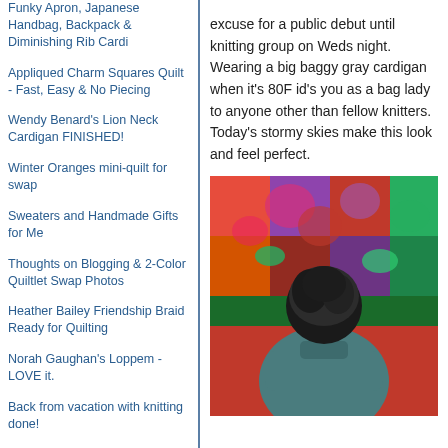Funky Apron, Japanese Handbag, Backpack & Diminishing Rib Cardi
Appliqued Charm Squares Quilt - Fast, Easy & No Piecing
Wendy Benard's Lion Neck Cardigan FINISHED!
Winter Oranges mini-quilt for swap
Sweaters and Handmade Gifts for Me
Thoughts on Blogging & 2-Color Quiltlet Swap Photos
Heather Bailey Friendship Braid Ready for Quilting
Norah Gaughan's Loppem - LOVE it.
Back from vacation with knitting done!
Tweedy Aran Cardi, Heather Bailey Friendship Braid, Heart Quiltlets & a Spring Forward Sock
ARCHIVES
May 2009
March 2009
excuse for a public debut until knitting group on Weds night. Wearing a big baggy gray cardigan when it's 80F id's you as a bag lady to anyone other than fellow knitters. Today's stormy skies make this look and feel perfect.
[Figure (photo): Person seen from behind wearing a teal/gray knitted cardigan, standing in front of a colorful floral patchwork quilt backdrop]